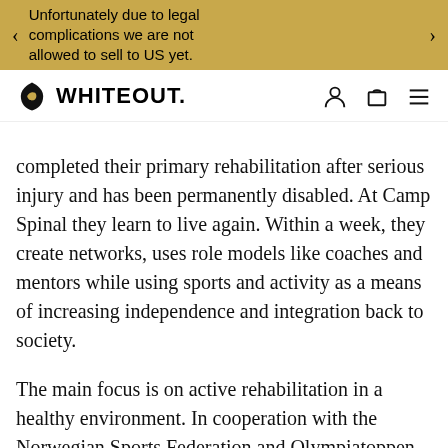Unfortunately due to legal complications we are not allowed to sell to US yet.
[Figure (logo): Whiteout brand logo with leaf/shield icon and WHITEOUT. wordmark, plus user, cart, and menu icons]
completed their primary rehabilitation after serious injury and has been permanently disabled. At Camp Spinal they learn to live again. Within a week, they create networks, uses role models like coaches and mentors while using sports and activity as a means of increasing independence and integration back to society.
The main focus is on active rehabilitation in a healthy environment. In cooperation with the Norwegian Sports Federation and Olympiatoppen, it is proposed to introduce sports activities that can suit the individual.
The Camp Spinal concept is branched into subprojects; Camp Spinal Summer, Camp Spinal Winter and Camp Spinal HRQ.